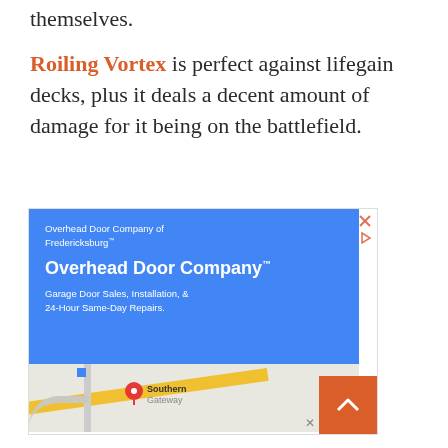themselves.
Roiling Vortex is perfect against lifegain decks, plus it deals a decent amount of damage for it being on the battlefield.
[Figure (screenshot): Advertisement for Overhead Door Company of Fredericksburg. Blue banner with company name and tagline 'Garage Door Sales, Installation, & 24-Hour Same-Day Repairs.' Below is a partial Google Maps view showing Southern Gateway area with a map pin. An orange scroll-to-top button is visible in the bottom right.]